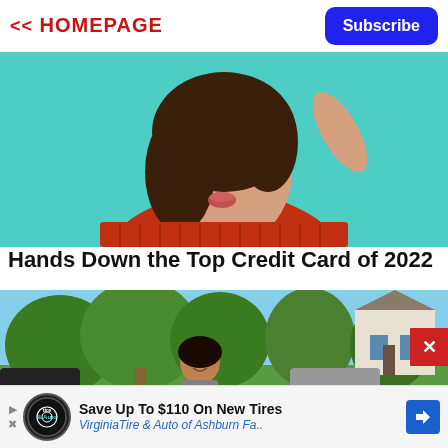<< HOMEPAGE
Subscribe
[Figure (photo): Woman in red sweater blowing a kiss against a teal/cyan background, photo cropped at neck/chin level showing her hair and shoulders]
Hands Down the Top Credit Card of 2022
[Figure (photo): Woman smiling standing outside in a residential neighborhood with trees and houses in the background on a sunny day]
Save Up To $110 On New Tires
VirginiaTire & Auto of Ashburn Fa..